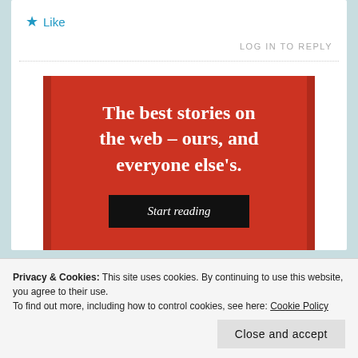★ Like
LOG IN TO REPLY
[Figure (other): Red advertisement banner with serif white text reading 'The best stories on the web – ours, and everyone else's.' and a dark 'Start reading' button]
Privacy & Cookies: This site uses cookies. By continuing to use this website, you agree to their use.
To find out more, including how to control cookies, see here: Cookie Policy
Close and accept